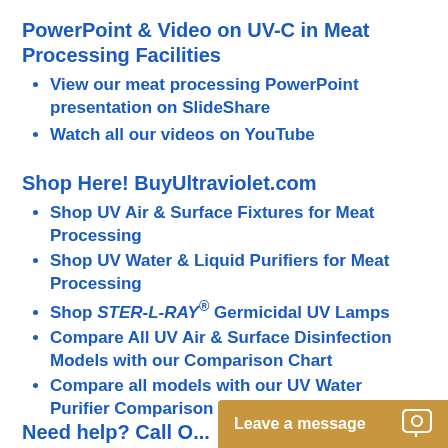PowerPoint & Video on UV-C in Meat Processing Facilities
View our meat processing PowerPoint presentation on SlideShare
Watch all our videos on YouTube
Shop Here! BuyUltraviolet.com
Shop UV Air & Surface Fixtures for Meat Processing
Shop UV Water & Liquid Purifiers for Meat Processing
Shop STER-L-RAY® Germicidal UV Lamps
Compare All UV Air & Surface Disinfection Models with our Comparison Chart
Compare all models with our UV Water Purifier Comparison Chart
Need help? Call O...